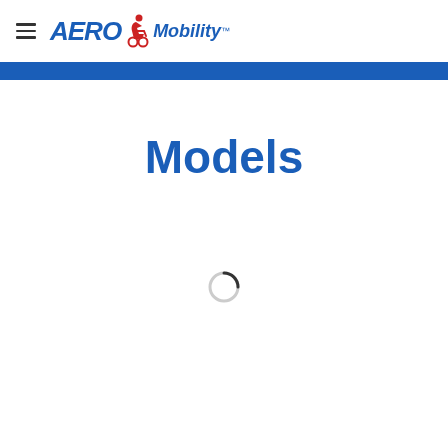AERO Mobility
Models
[Figure (other): Loading spinner icon — circular arc partially filled, indicating content is loading]